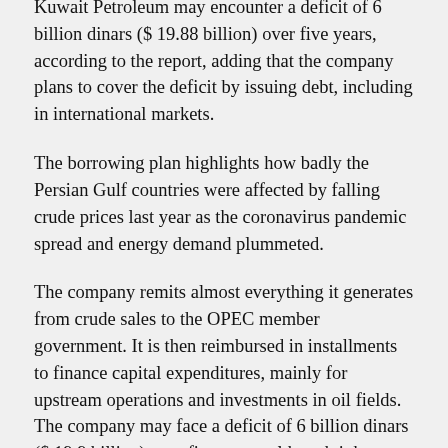Kuwait Petroleum may encounter a deficit of 6 billion dinars ($ 19.88 billion) over five years, according to the report, adding that the company plans to cover the deficit by issuing debt, including in international markets.
The borrowing plan highlights how badly the Persian Gulf countries were affected by falling crude prices last year as the coronavirus pandemic spread and energy demand plummeted.
The company remits almost everything it generates from crude sales to the OPEC member government. It is then reimbursed in installments to finance capital expenditures, mainly for upstream operations and investments in oil fields. The company may face a deficit of 6 billion dinars ($ 19.9 billion) over five years, although it hopes to minimize the gap by becoming more efficient, the person said.
The KPC plans to cover the deficit by issuing debt, including in international markets. The situation will be reviewed every six months to assess the company's needs and borrowing